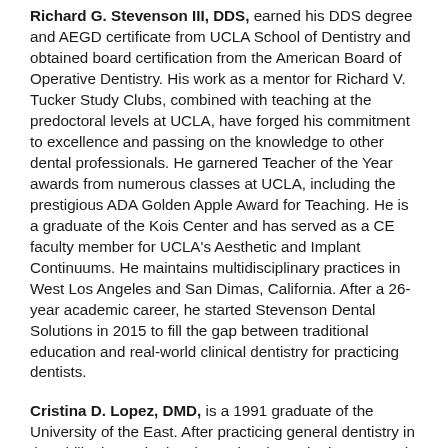Richard G. Stevenson III, DDS, earned his DDS degree and AEGD certificate from UCLA School of Dentistry and obtained board certification from the American Board of Operative Dentistry. His work as a mentor for Richard V. Tucker Study Clubs, combined with teaching at the predoctoral levels at UCLA, have forged his commitment to excellence and passing on the knowledge to other dental professionals. He garnered Teacher of the Year awards from numerous classes at UCLA, including the prestigious ADA Golden Apple Award for Teaching. He is a graduate of the Kois Center and has served as a CE faculty member for UCLA's Aesthetic and Implant Continuums. He maintains multidisciplinary practices in West Los Angeles and San Dimas, California. After a 26-year academic career, he started Stevenson Dental Solutions in 2015 to fill the gap between traditional education and real-world clinical dentistry for practicing dentists.
Cristina D. Lopez, DMD, is a 1991 graduate of the University of the East. After practicing general dentistry in the Philippines, she immigrated to the United States and obtained her dental license. She began as a lecturer in restorative dentistry at UCLA School of Dentistry in 2007, then joined...